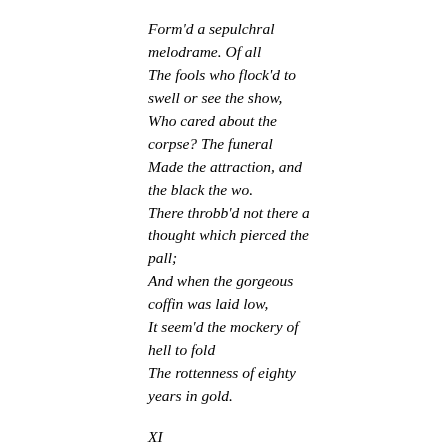Form'd a sepulchral melodrame. Of all The fools who flock'd to swell or see the show, Who cared about the corpse? The funeral Made the attraction, and the black the wo. There throbb'd not there a thought which pierced the pall; And when the gorgeous coffin was laid low, It seem'd the mockery of hell to fold The rottenness of eighty years in gold.
XI
So mix his body with the dust! It might Return to what it must far sooner, were